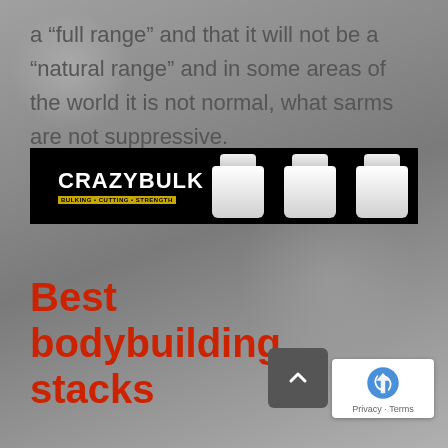a “full range” and that it will not be a “natural range” and in some areas of the world it is not normal, what sarms are not suppressive.
[Figure (photo): CrazyBulk advertisement banner with black background showing the CrazyBulk logo and supplement bottles]
Best bodybuilding stacks